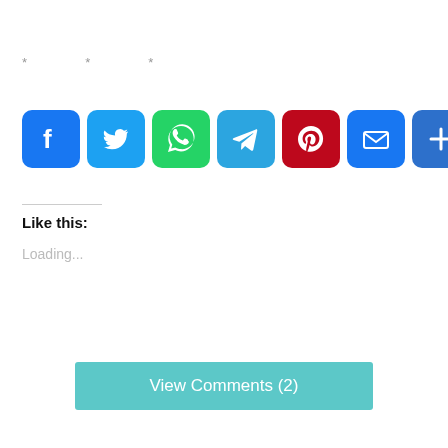* * *
[Figure (infographic): Row of social media share buttons: Facebook (blue), Twitter (light blue), WhatsApp (green), Telegram (blue), Pinterest (dark red), Email (blue), More/Plus (blue)]
Like this:
Loading...
View Comments (2)